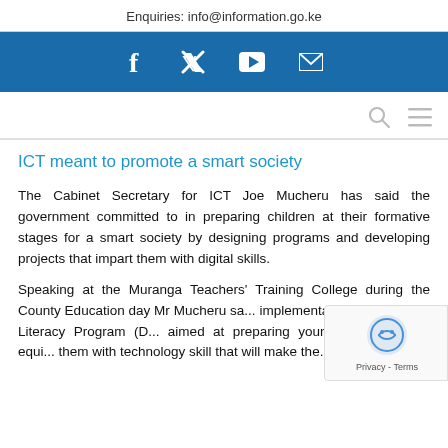Enquiries: info@information.go.ke
[Figure (other): Social media icons bar: Facebook, Twitter, YouTube, Email on blue background]
[Figure (other): Navigation bar with search and menu icons]
ICT meant to promote a smart society
The Cabinet Secretary for ICT Joe Mucheru has said the government committed to in preparing children at their formative stages for a smart society by designing programs and developing projects that impart them with digital skills.
Speaking at the Muranga Teachers' Training College during the County Education day Mr Mucheru sa... implementation of the Digital Literacy Program (D... aimed at preparing young generation by equi... them with technology skill that will make the...